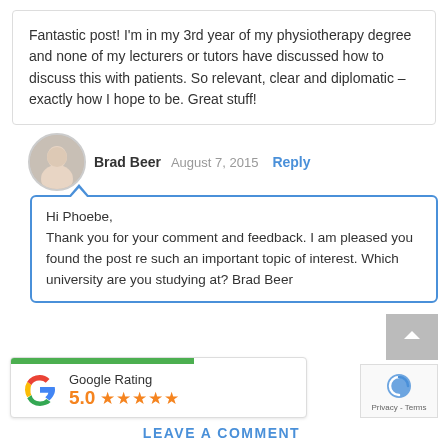Fantastic post! I'm in my 3rd year of my physiotherapy degree and none of my lecturers or tutors have discussed how to discuss this with patients. So relevant, clear and diplomatic – exactly how I hope to be. Great stuff!
Brad Beer  August 7, 2015  Reply
Hi Phoebe,
Thank you for your comment and feedback. I am pleased you found the post re such an important topic of interest. Which university are you studying at? Brad Beer
Google Rating
5.0 ★★★★★
LEAVE A COMMENT